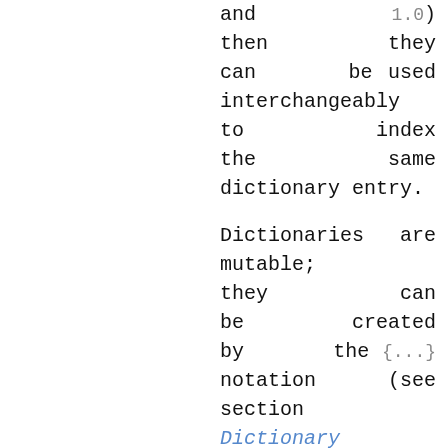and 1.0) then they can be used interchangeably to index the same dictionary entry.

Dictionaries are mutable; they can be created by the {...} notation (see section Dictionary displays).